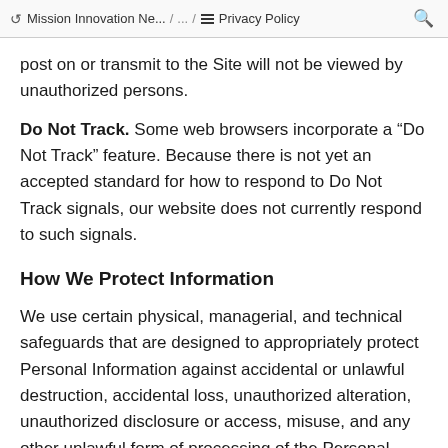Mission Innovation Ne... / ... / Privacy Policy
post on or transmit to the Site will not be viewed by unauthorized persons.
Do Not Track. Some web browsers incorporate a “Do Not Track” feature. Because there is not yet an accepted standard for how to respond to Do Not Track signals, our website does not currently respond to such signals.
How We Protect Information
We use certain physical, managerial, and technical safeguards that are designed to appropriately protect Personal Information against accidental or unlawful destruction, accidental loss, unauthorized alteration, unauthorized disclosure or access, misuse, and any other unlawful form of processing of the Personal Information in our possession. WE